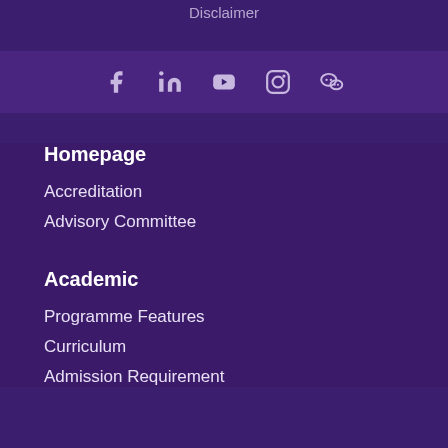Disclaimer
[Figure (infographic): Social media icons row: Facebook, LinkedIn, YouTube, Instagram, WeChat]
Homepage
Accreditation
Advisory Committee
Academic
Programme Features
Curriculum
Admission Requirement